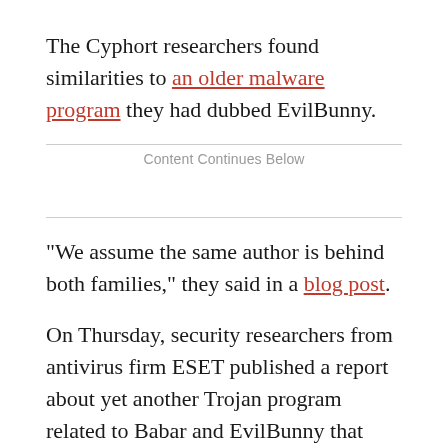The Cyphort researchers found similarities to an older malware program they had dubbed EvilBunny.
Content Continues Below
"We assume the same author is behind both families," they said in a blog post.
On Thursday, security researchers from antivirus firm ESET published a report about yet another Trojan program related to Babar and EvilBunny that they dubbed Casper. The program was